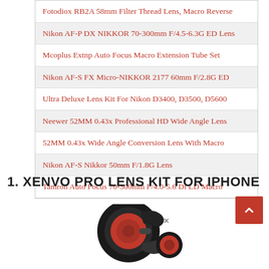Fotodiox RB2A 58mm Filter Thread Lens, Macro Reverse
Nikon AF-P DX NIKKOR 70-300mm F/4.5-6.3G ED Lens
Mcoplus Extnp Auto Focus Macro Extension Tube Set
Nikon AF-S FX Micro-NIKKOR 2177 60mm F/2.8G ED
Ultra Deluxe Lens Kit For Nikon D3400, D3500, D5600
Neewer 52MM 0.43x Professional HD Wide Angle Lens
52MM 0.43x Wide Angle Conversion Lens With Macro
Nikon AF-S Nikkor 50mm F/1.8G Lens
Tamron Auto Focus 70-300mm F/4.0-5.6 Di LD Macro
1. XENVO PRO LENS KIT FOR IPHONE
[Figure (photo): Xenvo Pro Lens Kit clip-on lens accessory with red macro lens and black clip mount]